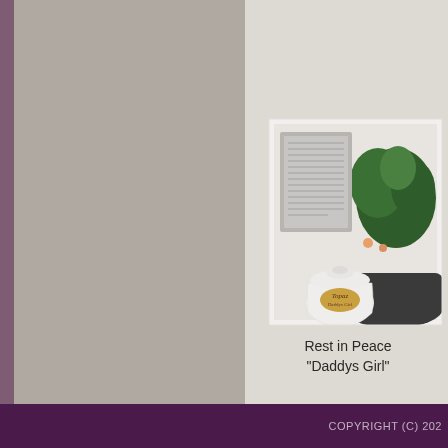[Figure (photo): Photo of a white cremation urn with a gold oval tag reading 'Topaz', set next to a silver picture frame and a dark bonsai bowl with green plant and small flowers, on a white surface.]
Rest in Peace
"Daddys Girl"
COPYRIGHT (C) 202